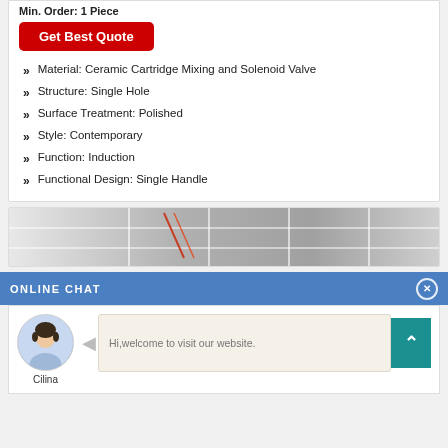Min. Order: 1 Piece
Get Best Quote
Material: Ceramic Cartridge Mixing and Solenoid Valve
Structure: Single Hole
Surface Treatment: Polished
Style: Contemporary
Function: Induction
Functional Design: Single Handle
[Figure (photo): Product image strip showing metallic/glass grid structure]
ONLINE CHAT
[Figure (photo): Chat avatar of a woman named Cilina]
Hi,welcome to visit our website.
Cilina